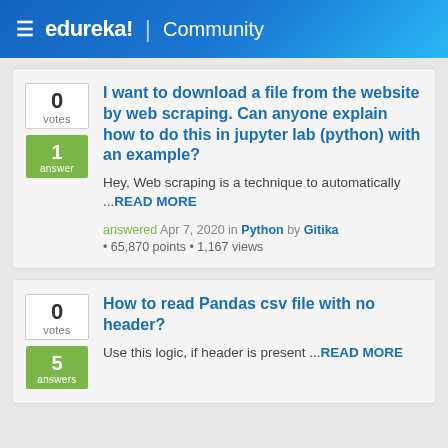≡ edureka! | Community
I want to download a file from the website by web scraping. Can anyone explain how to do this in jupyter lab (python) with an example?
Hey, Web scraping is a technique to automatically ...READ MORE
answered Apr 7, 2020 in Python by Gitika • 65,870 points • 1,167 views
How to read Pandas csv file with no header?
Use this logic, if header is present ...READ MORE